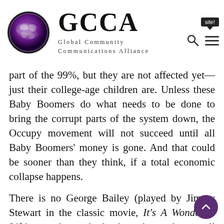[Figure (logo): GCCA – Global Community Communications Alliance logo with globe and organization name]
part of the 99%, but they are not affected yet—just their college-age children are. Unless these Baby Boomers do what needs to be done to bring the corrupt parts of the system down, the Occupy movement will not succeed until all Baby Boomers' money is gone. And that could be sooner than they think, if a total economic collapse happens.
There is no George Bailey (played by Jimmy Stewart in the classic movie, It's A Wonderful Life)—you know the banker who made sure all the people got their money back. No, when the banks take all your